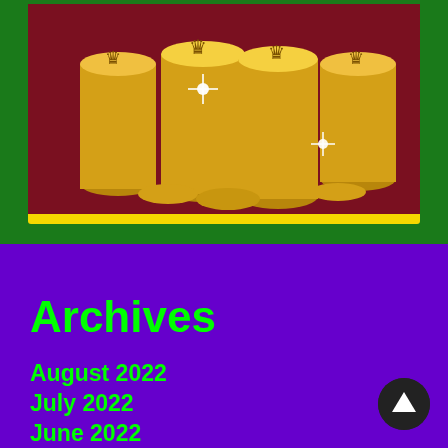[Figure (photo): Stacks of golden coins with crown symbols on a dark red/maroon background, inside a yellow-bordered card on a dark green background. Bright sparkle effects on the coins.]
Archives
August 2022
July 2022
June 2022